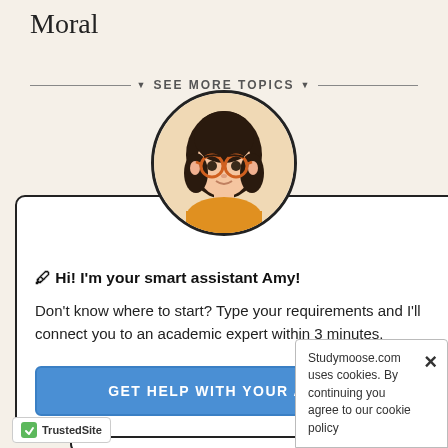Moral
SEE MORE TOPICS
[Figure (illustration): Animated avatar of a young woman with dark hair and orange round glasses, wearing a yellow/orange top, shown in a circular frame.]
× (close button)
🖊 Hi! I'm your smart assistant Amy!
Don't know where to start? Type your requirements and I'll connect you to an academic expert within 3 minutes.
GET HELP WITH YOUR ASSIGNMENT
Number of pages
— 2 pag
Studymoose.com uses cookies. By continuing you agree to our cookie policy
TrustedSite